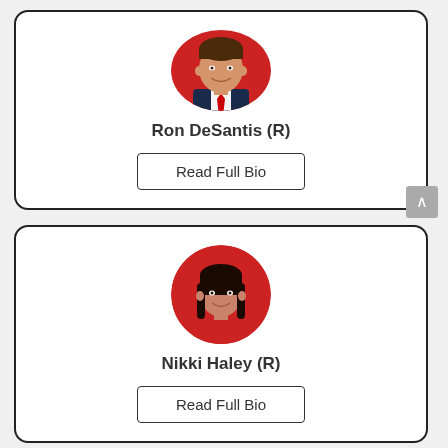[Figure (photo): Profile card for Ron DeSantis (R) with circular headshot photo on red background and a Read Full Bio button]
[Figure (photo): Profile card for Nikki Haley (R) with circular headshot photo on red background and a Read Full Bio button]